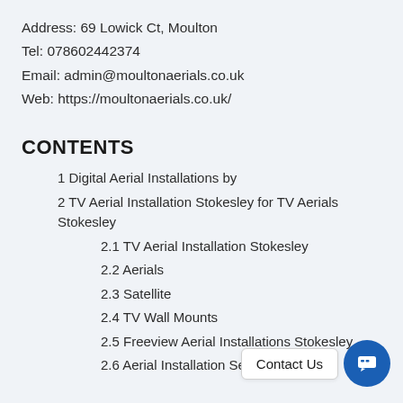Address: 69 Lowick Ct, Moulton
Tel: 078602442374
Email: admin@moultonaerials.co.uk
Web: https://moultonaerials.co.uk/
CONTENTS
1 Digital Aerial Installations by
2 TV Aerial Installation Stokesley for TV Aerials Stokesley
2.1 TV Aerial Installation Stokesley
2.2 Aerials
2.3 Satellite
2.4 TV Wall Mounts
2.5 Freeview Aerial Installations Stokesley
2.6 Aerial Installation Services